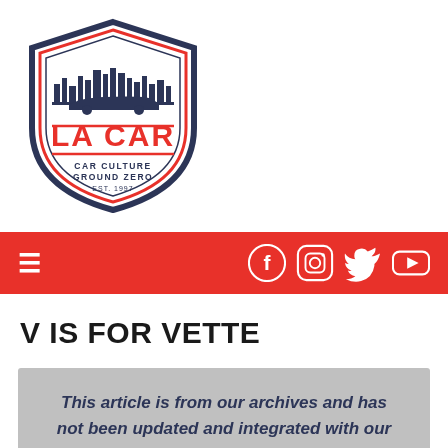[Figure (logo): LA CAR shield logo with city skyline, text 'LA CAR' in red, 'CAR CULTURE GROUND ZERO EST. 1997' below, dark navy and red color scheme]
[Figure (infographic): Red navigation bar with hamburger menu icon on the left and social media icons (Facebook, Instagram, Twitter, YouTube) on the right in white]
V IS FOR VETTE
This article is from our archives and has not been updated and integrated with our "new" site yet... Even so, it's still awesome - so keep reading!